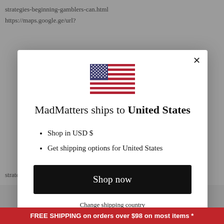strategies-beginning-gamblers-can.html
https://maps.google.ge/url?
[Figure (illustration): US flag emoji / icon]
MadMatters ships to United States
Shop in USD $
Get shipping options for United States
Shop now
Change shipping country
strategies-beginning-gamblers-can.html
FREE SHIPPING on orders over $98 on most items *